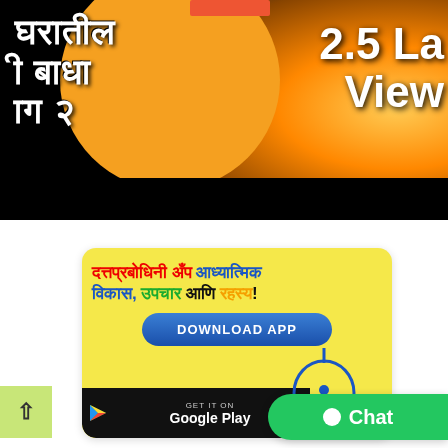[Figure (screenshot): Video thumbnail showing Marathi text 'घरातील बाधा भाग २' and '2.5 Lakh Views' overlaid on an orange and sunset background image. A red bar is visible at the top. A black bar is at the bottom of the thumbnail.]
[Figure (infographic): Advertisement banner for 'Datprbodhini App' in Marathi with text in red, blue, green and black. Shows DOWNLOAD APP button in blue, Google Play store badge, a hand cursor icon, and a green Chat button.]